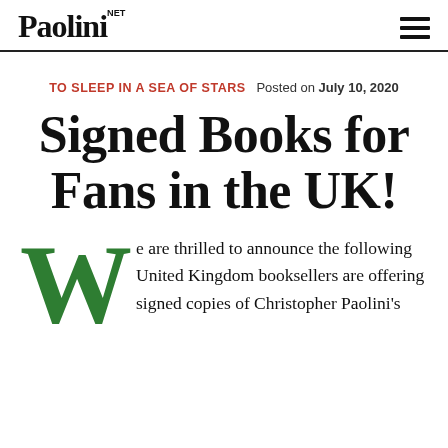Paolini.NET
TO SLEEP IN A SEA OF STARS  Posted on July 10, 2020
Signed Books for Fans in the UK!
We are thrilled to announce the following United Kingdom booksellers are offering signed copies of Christopher Paolini's